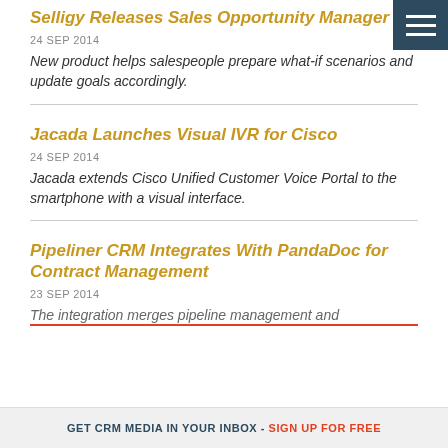Selligy Releases Sales Opportunity Manager
24 SEP 2014
New product helps salespeople prepare what-if scenarios and update goals accordingly.
Jacada Launches Visual IVR for Cisco
24 SEP 2014
Jacada extends Cisco Unified Customer Voice Portal to the smartphone with a visual interface.
Pipeliner CRM Integrates With PandaDoc for Contract Management
23 SEP 2014
The integration merges pipeline management and
GET CRM MEDIA IN YOUR INBOX - SIGN UP FOR FREE